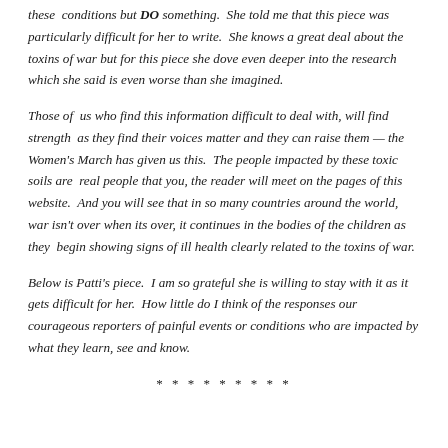these conditions but DO something. She told me that this piece was particularly difficult for her to write. She knows a great deal about the toxins of war but for this piece she dove even deeper into the research which she said is even worse than she imagined.
Those of us who find this information difficult to deal with, will find strength as they find their voices matter and they can raise them — the Women's March has given us this. The people impacted by these toxic soils are real people that you, the reader will meet on the pages of this website. And you will see that in so many countries around the world, war isn't over when its over, it continues in the bodies of the children as they begin showing signs of ill health clearly related to the toxins of war.
Below is Patti's piece. I am so grateful she is willing to stay with it as it gets difficult for her. How little do I think of the responses our courageous reporters of painful events or conditions who are impacted by what they learn, see and know.
* * * * * * * * *